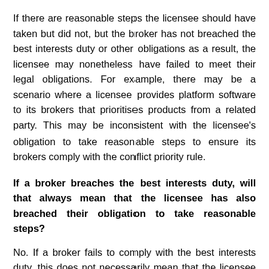If there are reasonable steps the licensee should have taken but did not, but the broker has not breached the best interests duty or other obligations as a result, the licensee may nonetheless have failed to meet their legal obligations. For example, there may be a scenario where a licensee provides platform software to its brokers that prioritises products from a related party. This may be inconsistent with the licensee's obligation to take reasonable steps to ensure its brokers comply with the conflict priority rule.
If a broker breaches the best interests duty, will that always mean that the licensee has also breached their obligation to take reasonable steps?
No. If a broker fails to comply with the best interests duty, this does not necessarily mean that the licensee has failed to take reasonable steps. For example, there may not have been any reasonable steps the licensee could have taken that would have ensured the broker's